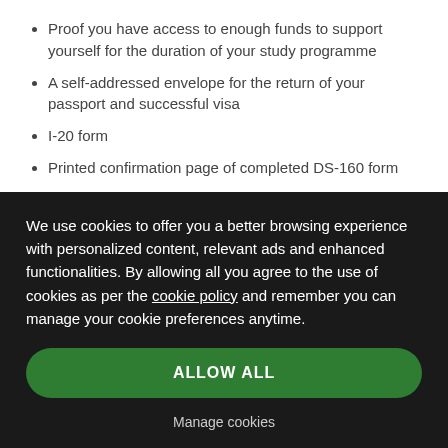Proof you have access to enough funds to support yourself for the duration of your study programme
A self-addressed envelope for the return of your passport and successful visa
I-20 form
Printed confirmation page of completed DS-160 form
All relevant academic transcripts to date
We use cookies to offer you a better browsing experience with personalized content, relevant ads and enhanced functionalities. By allowing all you agree to the use of cookies as per the cookie policy and remember you can manage your cookie preferences anytime.
ALLOW ALL
Manage cookies